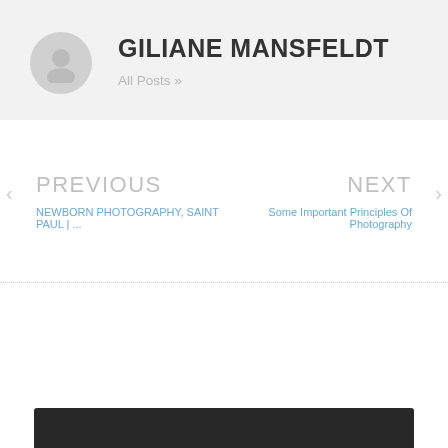[Figure (illustration): Gray circular avatar icon with a generic person silhouette]
GILIANE MANSFELDT
All Posts »
PREVIOUS
NEWBORN PHOTOGRAPHY, SAINT PAUL | ...
NEXT
Some Important Principles Of Photography
[Figure (photo): Dark bottom strip representing the top of a photograph]